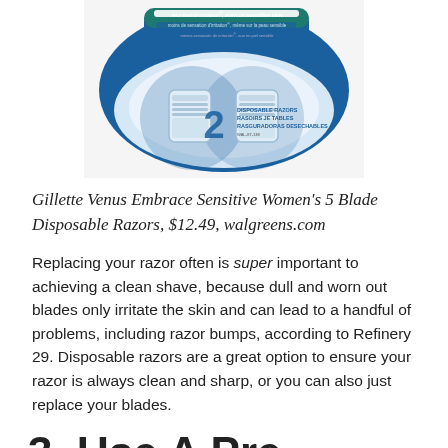[Figure (photo): Gillette Venus Embrace Sensitive Women's disposable razors product packaging, showing a blue and white package with 2 disposable razors. Text on package reads: less feel of irritation, even on sensitive skin; moins de sensation d'irritation, même sur la peau sensible; menos sensación de irritación, aun en piel sensible; 2 DISPOSABLE RAZORS, RASOIRS JE TABLES, RASGURADORAS DESECHABLES.]
Gillette Venus Embrace Sensitive Women's 5 Blade Disposable Razors, $12.49, walgreens.com
Replacing your razor often is super important to achieving a clean shave, because dull and worn out blades only irritate the skin and can lead to a handful of problems, including razor bumps, according to Refinery 29. Disposable razors are a great option to ensure your razor is always clean and sharp, or you can also just replace your blades.
3. Use A Pre-Shave Oil